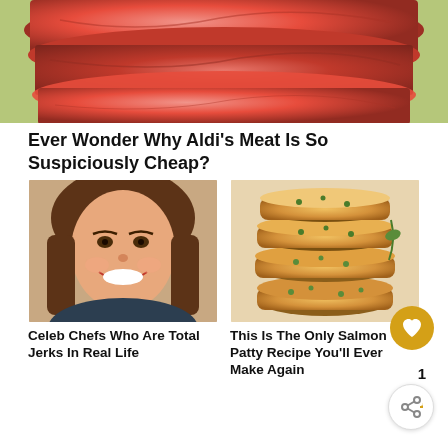[Figure (photo): Close-up photo of raw red beef/meat stacked]
Ever Wonder Why Aldi's Meat Is So Suspiciously Cheap?
[Figure (photo): Smiling woman with brown hair (celebrity chef)]
[Figure (photo): Stack of salmon patties/cakes with green herbs]
Celeb Chefs Who Are Total Jerks In Real Life
This Is The Only Salmon Patty Recipe You'll Ever Make Again